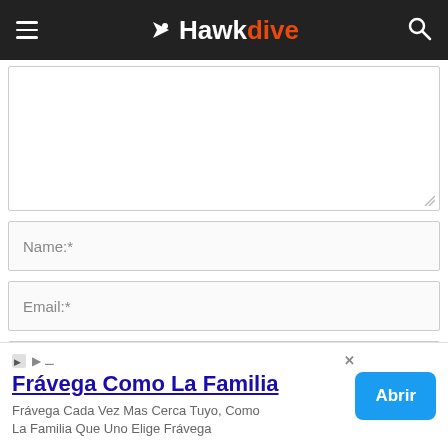Hawkdive
(textarea - comment input field)
Name:*
Email:*
Website:
ve my name, email, and website in this browser for the next time I
[Figure (screenshot): Advertisement banner: Frávega Como La Familia - Frávega Cada Vez Mas Cerca Tuyo, Como La Familia Que Uno Elige Frávega, with Abrir button]